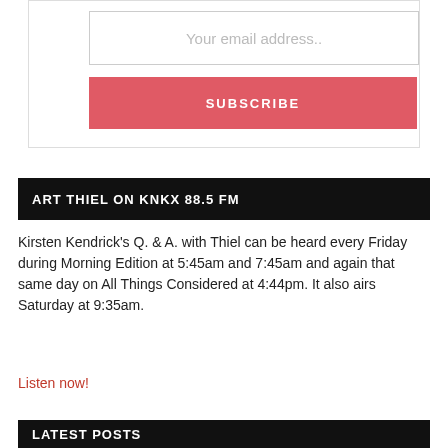[Figure (other): Email subscription form with text input field showing placeholder 'Your email address..' and a red Subscribe button below it]
ART THIEL ON KNKX 88.5 FM
Kirsten Kendrick's Q. & A. with Thiel can be heard every Friday during Morning Edition at 5:45am and 7:45am and again that same day on All Things Considered at 4:44pm. It also airs Saturday at 9:35am.
Listen now!
LATEST POSTS